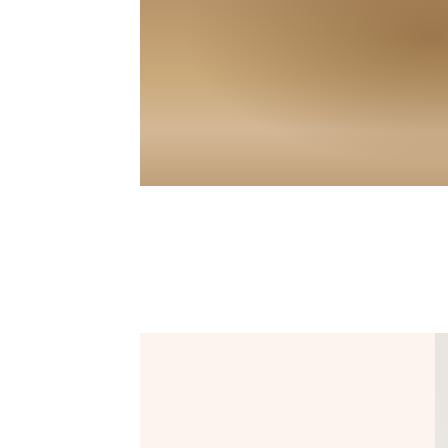[Figure (photo): Close-up photograph of a person wearing a tan/camel colored blazer or jacket, showing the torso and arms]
[Figure (photo): Promotional card with light pink/blush background showing a desktop computer with black screen monitor on a wooden desk with an open magazine and keyboard. Includes bold serif text and a right-pointing arrow.]
Hey, do you want to know what Kaboompics is?